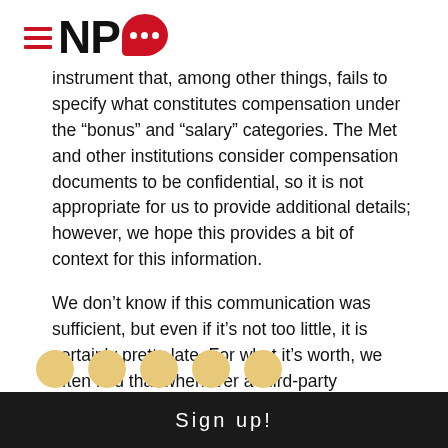NPQ (Nonprofit Quarterly) logo
instrument that, among other things, fails to specify what constitutes compensation under the “bonus” and “salary” categories. The Met and other institutions consider compensation documents to be confidential, so it is not appropriate for us to provide additional details; however, we hope this provides a bit of context for this information.
We don’t know if this communication was sufficient, but even if it’s not too little, it is certainly pretty late. For what it’s worth, we often find that whenever a third-party compensation consultant is cited, you can expect the pay to run higher than the norm.—Ruth McCambridge
Sign up!